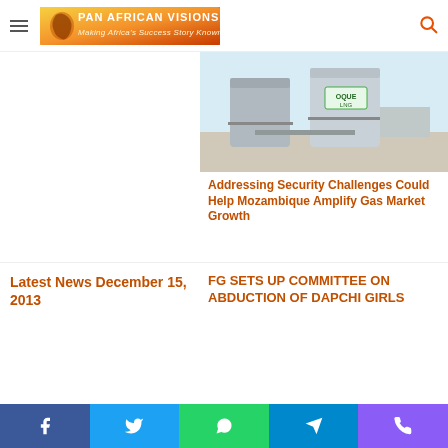Pan African Visions — Making Africa's Success Story Known
[Figure (photo): Industrial gas facility with tanks and railings — Mozambique LNG]
Addressing Security Challenges Could Help Mozambique Amplify Gas Market Growth
Latest News December 15, 2013
FG SETS UP COMMITTEE ON ABDUCTION OF DAPCHI GIRLS
Leave a Reply